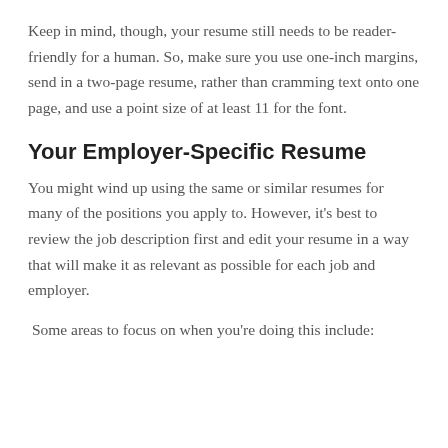Keep in mind, though, your resume still needs to be reader-friendly for a human. So, make sure you use one-inch margins, send in a two-page resume, rather than cramming text onto one page, and use a point size of at least 11 for the font.
Your Employer-Specific Resume
You might wind up using the same or similar resumes for many of the positions you apply to. However, it's best to review the job description first and edit your resume in a way that will make it as relevant as possible for each job and employer.
Some areas to focus on when you're doing this include: